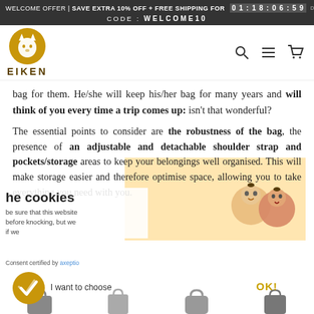WELCOME OFFER | SAVE EXTRA 10% OFF + FREE SHIPPING FOR  0 1 : 1 8 : 0 6 : 5 9
CODE : WELCOME10
[Figure (logo): Eiken logo: golden circle with white cat silhouette, text EIKEN below in dark brown]
bag for them. He/she will keep his/her bag for many years and will think of you every time a trip comes up: isn't that wonderful?
The essential points to consider are the robustness of the bag, the presence of an adjustable and detachable shoulder strap and pockets/storage areas to keep your belongings well organised. This will make storage easier and therefore optimise space, allowing you to take everything you need with you.
he cookies
be sure that this website
before knocking, but we
if we
Consent certified by axeptio
I want to choose
OK!